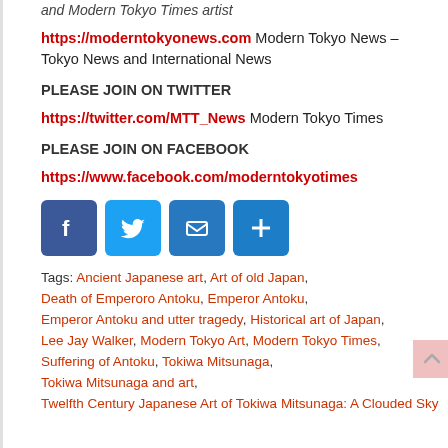and Modern Tokyo Times artist
https://moderntokyonews.com Modern Tokyo News – Tokyo News and International News
PLEASE JOIN ON TWITTER
https://twitter.com/MTT_News Modern Tokyo Times
PLEASE JOIN ON FACEBOOK
https://www.facebook.com/moderntokyotimes
[Figure (infographic): Four social media share buttons: Facebook (dark blue), Twitter (light blue), Email (blue envelope), Share/Add (blue plus)]
Tags: Ancient Japanese art, Art of old Japan, Death of Emperoro Antoku, Emperor Antoku, Emperor Antoku and utter tragedy, Historical art of Japan, Lee Jay Walker, Modern Tokyo Art, Modern Tokyo Times, Suffering of Antoku, Tokiwa Mitsunaga, Tokiwa Mitsunaga and art, Twelfth Century Japanese Art of Tokiwa Mitsunaga: A Clouded Sky